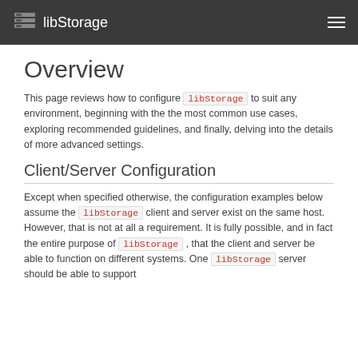libStorage
Overview
This page reviews how to configure libStorage to suit any environment, beginning with the the most common use cases, exploring recommended guidelines, and finally, delving into the details of more advanced settings.
Client/Server Configuration
Except when specified otherwise, the configuration examples below assume the libStorage client and server exist on the same host. However, that is not at all a requirement. It is fully possible, and in fact the entire purpose of libStorage , that the client and server be able to function on different systems. One libStorage server should be able to support hundreds of clients. Yet for the sake of completeness